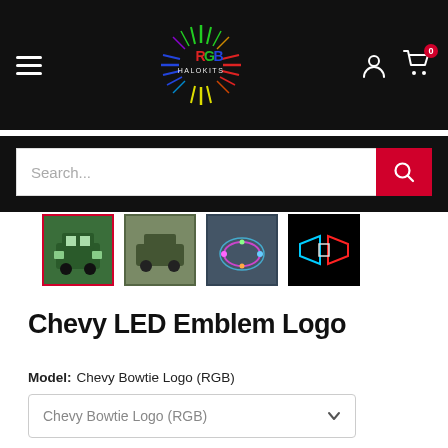[Figure (logo): RGB Halokits logo with colorful sunburst rays on black background]
Search...
[Figure (photo): Four product thumbnail images of Chevy LED Emblem Logo showing a green SUV front view (selected), SUV on dirt, LED light close-up, and LED emblem on black background]
Chevy LED Emblem Logo
Model: Chevy Bowtie Logo (RGB)
Chevy Bowtie Logo (RGB)